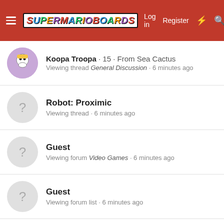Super Mario Boards — Log in · Register
Koopa Troopa · 15 · From Sea Cactus — Viewing thread General Discussion · 6 minutes ago
Robot: Proximic — Viewing thread · 6 minutes ago
Guest — Viewing forum Video Games · 6 minutes ago
Guest — Viewing forum list · 6 minutes ago
Guest — Viewing thread What advertisments do you see often on this